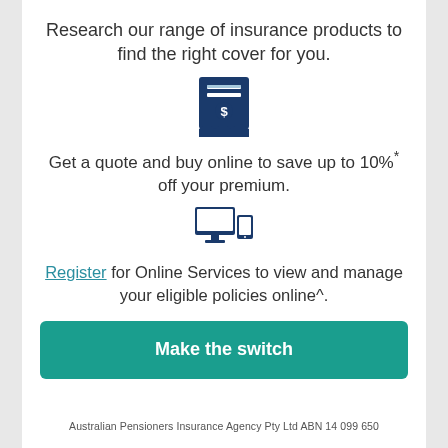Research our range of insurance products to find the right cover for you.
[Figure (illustration): Dark blue receipt/invoice icon with dollar sign and horizontal lines]
Get a quote and buy online to save up to 10%* off your premium.
[Figure (illustration): Dark blue desktop monitor and tablet/mobile device icon]
Register for Online Services to view and manage your eligible policies online^.
Make the switch
Australian Pensioners Insurance Agency Pty Ltd ABN 14 099 650